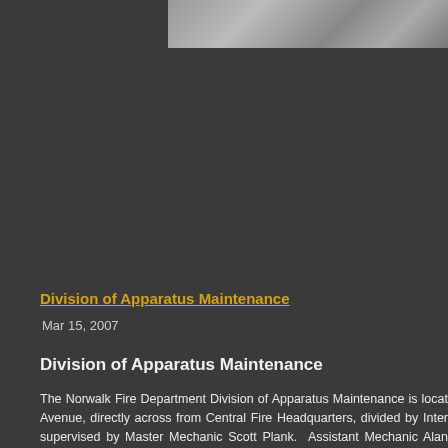[Figure (photo): Grayscale photo strip at top of page showing what appears to be a vehicle or apparatus]
Division of Apparatus Maintenance
Mar 15, 2007
Division of Apparatus Maintenance
The Norwalk Fire Department Division of Apparatus Maintenance is located on Avenue, directly across from Central Fire Headquarters, divided by Inter supervised by Master Mechanic Scott Plank.  Assistant Mechanic Alan DiR Time Mechanic Mike Hagar assist in maintaining a fleet of 8 pump appa trucks, 3 rescue trucks, 1 Haz-Mat tractor-trailer apparatus and several dif service vehicles such as Staff cars, shop trucks and specialized rescue/suppor
NFD Apparatus Maintenance Division was featured in the July/August 2006 Apparatus Journal for their outstanding work in taking retired apparatus an into front-line specialty apparatus, including a 1982 American LaFrance Pu converted into a Trench/Technical Rescue rig.  Other customized appa pumper that was converted into a tractor to pull a semi-trailer that serves as Fairfield County Haz-Mat Response Truck.
To order a back-issue of the July/August 2006 Fire Apparatus Journa